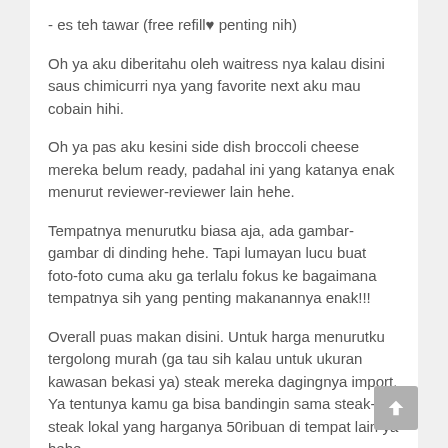- es teh tawar (free refill♥ penting nih)
Oh ya aku diberitahu oleh waitress nya kalau disini saus chimicurri nya yang favorite next aku mau cobain hihi.
Oh ya pas aku kesini side dish broccoli cheese mereka belum ready, padahal ini yang katanya enak menurut reviewer-reviewer lain hehe.
Tempatnya menurutku biasa aja, ada gambar-gambar di dinding hehe. Tapi lumayan lucu buat foto-foto cuma aku ga terlalu fokus ke bagaimana tempatnya sih yang penting makanannya enak!!!
Overall puas makan disini. Untuk harga menurutku tergolong murah (ga tau sih kalau untuk ukuran kawasan bekasi ya) steak mereka dagingnya import. Ya tentunya kamu ga bisa bandingin sama steak-steak lokal yang harganya 50ribuan di tempat lain ya hehe.